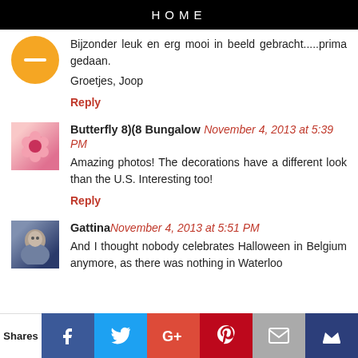HOME
Bijzonder leuk en erg mooi in beeld gebracht.....prima gedaan.

Groetjes, Joop
Reply
Butterfly 8)(8 Bungalow November 4, 2013 at 5:39 PM
Amazing photos! The decorations have a different look than the U.S. Interesting too!
Reply
Gattina November 4, 2013 at 5:51 PM
And I thought nobody celebrates Halloween in Belgium anymore, as there was nothing in Waterloo
Shares